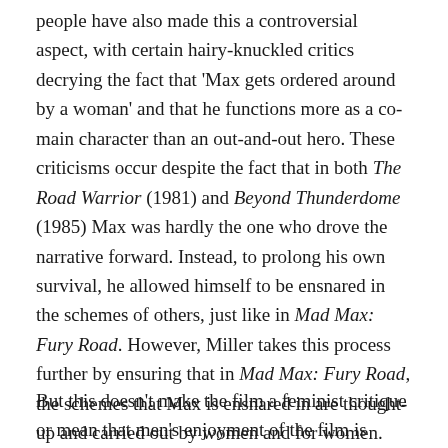people have also made this a controversial aspect, with certain hairy-knuckled critics decrying the fact that 'Max gets ordered around by a woman' and that he functions more as a co-main character than an out-and-out hero. These criticisms occur despite the fact that in both The Road Warrior (1981) and Beyond Thunderdome (1985) Max was hardly the one who drove the narrative forward. Instead, to prolong his own survival, he allowed himself to be ensnared in the schemes of others, just like in Mad Max: Fury Road. However, Miller takes this process further by ensuring that in Mad Max: Fury Road, the schemes that Max is ensnared in are thought-up and carried out by women and for women.
But this doesn't make the film a feminist critique or mean that men's enjoyment of the film is somehow